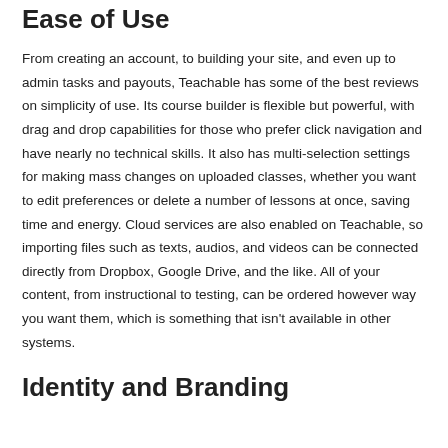Ease of Use
From creating an account, to building your site, and even up to admin tasks and payouts, Teachable has some of the best reviews on simplicity of use. Its course builder is flexible but powerful, with drag and drop capabilities for those who prefer click navigation and have nearly no technical skills. It also has multi-selection settings for making mass changes on uploaded classes, whether you want to edit preferences or delete a number of lessons at once, saving time and energy. Cloud services are also enabled on Teachable, so importing files such as texts, audios, and videos can be connected directly from Dropbox, Google Drive, and the like. All of your content, from instructional to testing, can be ordered however way you want them, which is something that isn't available in other systems.
Identity and Branding